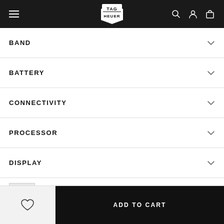TAG HEUER
BAND
BATTERY
CONNECTIVITY
PROCESSOR
DISPLAY
TAG HEUER CONNECTED Steel Case BGN 2.350,00
ADD TO CART